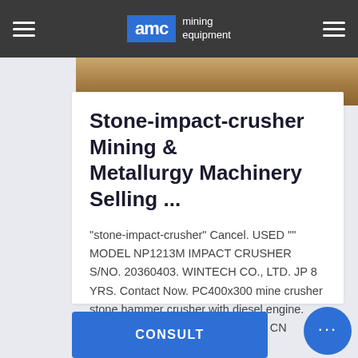AMC mining equipment
[Figure (photo): Partial view of mining/crushing equipment or terrain — brownish earthy tones]
Stone-impact-crusher Mining & Metallurgy Machinery Selling ...
"stone-impact-crusher" Cancel. USED "" MODEL NP1213M IMPACT CRUSHER S/NO. 20360403. WINTECH CO., LTD. JP 8 YRS. Contact Now. PC400x300 mine crusher stone hammer crusher with diesel engine. Heze Yide Import&Export Co,. Ltd. CN Contact Now. hammer ...